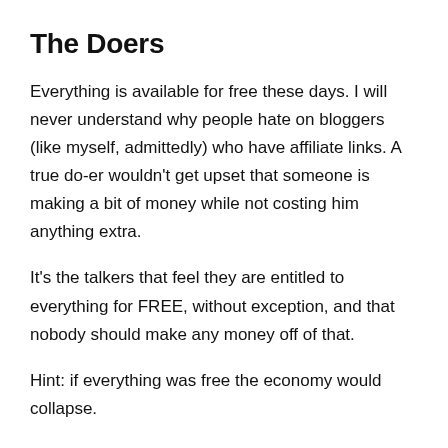The Doers
Everything is available for free these days. I will never understand why people hate on bloggers (like myself, admittedly) who have affiliate links. A true do-er wouldn't get upset that someone is making a bit of money while not costing him anything extra.
It's the talkers that feel they are entitled to everything for FREE, without exception, and that nobody should make any money off of that.
Hint: if everything was free the economy would collapse.
The doers recognize the value of free content and are willing to pay for premium if they find it necessary.
The doers seek out answers to tough questions and then